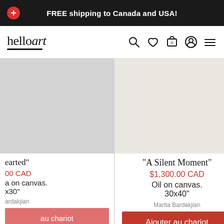FREE shipping to Canada and USA!
[Figure (logo): helloart logo with stylized text and underline]
"earted"
$390.0 CAD / Oil on canvas. 15.70x30"
Bardakjian
[Figure (photo): Art product image for A Silent Moment - light colored canvas]
"A Silent Moment"
$1,300.00 CAD
Oil on canvas. 30x40"
Marita Bardakjian
Ajouter au chariot
[Figure (photo): Partial view of a figurative painting with warm skin tones]
"Be
$390.0
Oil on c
15.70x
Na
Ajouter a